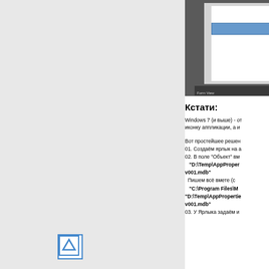[Figure (screenshot): Access form view screenshot showing a form with a blue input field on dark grey background with 'Form View' status bar]
Кстати:
Windows 7 (и выше) - от иконку аппликации, а и
Вот простейшее решен 01. Создаём ярлык на а 02. В поле "Объект" вм "D:\Temp\AppProper v001.mdb" Пишем всё вмете (с "C:\Program Files\M "D:\Temp\AppPropertie v001.mdb" 03. У Ярлыка задаём и